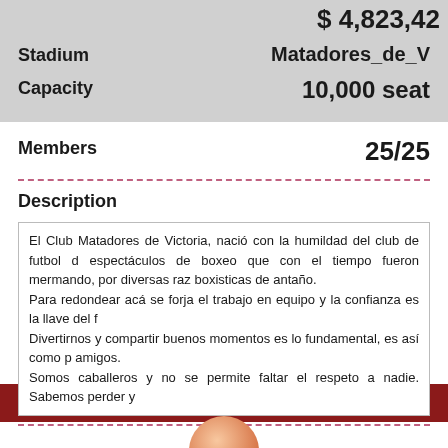$ 4,823,42
Stadium
Matadores_de_V
Capacity
10,000 seats
Members
25/25
Description
El Club Matadores de Victoria, nació con la humildad del club de futbol d espectáculos de boxeo que con el tiempo fueron mermando, por diversas raz boxisticas de antaño.
Para redondear acá se forja el trabajo en equipo y la confianza es la llave del f
Divertirnos y compartir buenos momentos es lo fundamental, es así como p amigos.
Somos caballeros y no se permite faltar el respeto a nadie. Sabemos perder y
| Member | Rank |
| --- | --- |